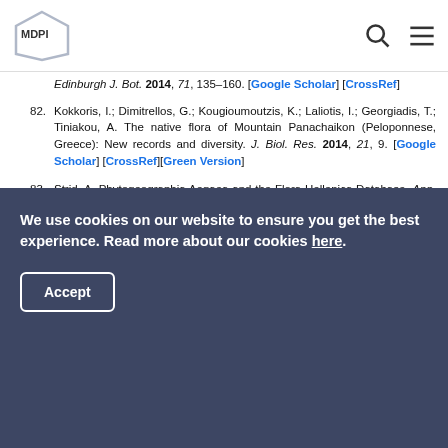MDPI
Edinburgh J. Bot. 2014, 71, 135–160. [Google Scholar] [CrossRef]
82. Kokkoris, I.; Dimitrellos, G.; Kougioumoutzis, K.; Laliotis, I.; Georgiadis, T.; Tiniakou, A. The native flora of Mountain Panachaikon (Peloponnese, Greece): New records and diversity. J. Biol. Res. 2014, 21, 9. [Google Scholar] [CrossRef][Green Version]
83. Strid, A. Phytogeographia Aegaea and the Flora Hellenica Database. Ann. Naturhistorischen Museums Wien 1996, 98B, 279–289. [Google Scholar]
84. Panitsa, M.; Trigas, P.; Iatrou, G.; Sfenthourakis, S.
We use cookies on our website to ensure you get the best experience. Read more about our cookies here.
Accept